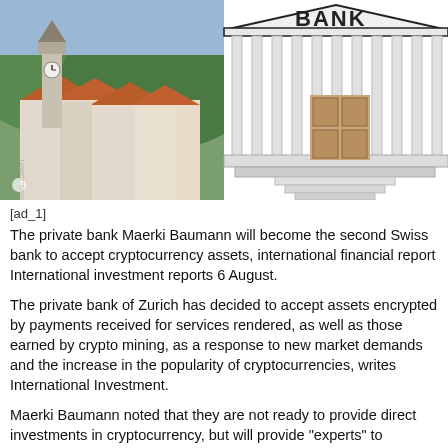[Figure (illustration): Composite image: left half shows a photograph of a Swiss town (Chur) with a church tower and orange-roofed buildings against green forested hills; right half shows a line drawing illustration of a classical bank building with columns and wooden doors, steps leading up to the entrance. A partial 'BANK' text logo appears at the top of the illustration.]
[ad_1]
The private bank Maerki Baumann will become the second Swiss bank to accept cryptocurrency assets, international financial report International investment reports 6 August.
The private bank of Zurich has decided to accept assets encrypted by payments received for services rendered, as well as those earned by crypto mining, as a response to new market demands and the increase in the popularity of cryptocurrencies, writes International Investment.
Maerki Baumann noted that they are not ready to provide direct investments in cryptocurrency, but will provide "experts" to